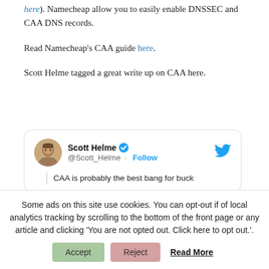here). Namecheap allow you to easily enable DNSSEC and CAA DNS records.
Read Namecheap's CAA guide here.
Scott Helme tagged a great write up on CAA here.
[Figure (other): Embedded tweet from @Scott_Helme with Twitter verified badge and Follow button. Tweet text begins: 'CAA is probably the best bang for buck...']
Some ads on this site use cookies. You can opt-out if of local analytics tracking by scrolling to the bottom of the front page or any article and clicking 'You are not opted out. Click here to opt out.'.